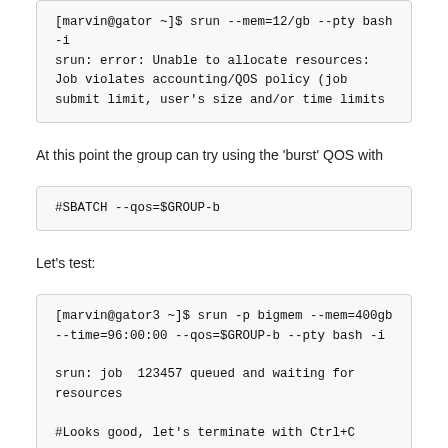[marvin@gator ~]$ srun --mem=12/gb --pty bash -i
srun: error: Unable to allocate resources: Job violates accounting/QOS policy (job submit limit, user's size and/or time limits
At this point the group can try using the 'burst' QOS with
#SBATCH --qos=$GROUP-b
Let's test:
[marvin@gator3 ~]$ srun -p bigmem --mem=400gb --time=96:00:00 --qos=$GROUP-b --pty bash -i

srun: job  123457 queued and waiting for resources

#Looks good, let's terminate with Ctrl+C

^C
srun: Job allocation 123457 has been revoked